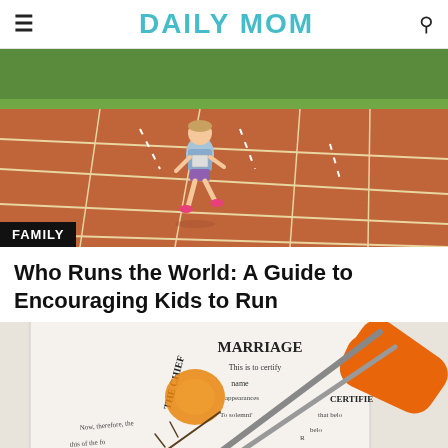DAILY MOM
[Figure (photo): Young girl running on a red athletic track with white lane markings, green trees in background. A 'FAMILY' badge is overlaid at the bottom left.]
Who Runs the World: A Guide to Encouraging Kids to Run
[Figure (photo): Marriage certificate document with orange scissors cutting through it, and a small orange candy and twig on top. Text visible: MARRIAGE, This is to certify, name, appearances, THE CHIEF, To solemniz, Now therefore the, this of the, belo, that, CERTIFIE]